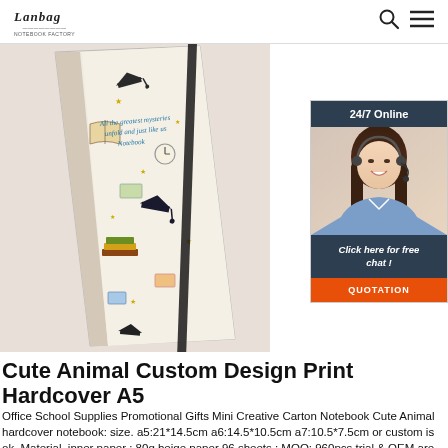Lanbag | 24/7 Online
[Figure (photo): A hardcover A5 notebook with a decorative education-themed pattern (books, graduation caps, stars, clocks) on a cream/beige background, with a black elastic closure band. The notebook is photographed at an angle.]
[Figure (photo): 24/7 Online chat widget showing a smiling female customer service representative wearing a headset, with 'Click here for free chat!' text and an orange QUOTATION button.]
Cute Animal Custom Design Print Hardcover A5
Office School Supplies Promotional Gifts Mini Creative Carton Notebook Cute Animal hardcover notebook: size. a5:21*14.5cm a6:14.5*10.5cm a7:10.5*7.5cm or custom is ok. Material. inner paper : 80g beige paper 96 sheets ; MOQ: 960pcs trial & OEM are